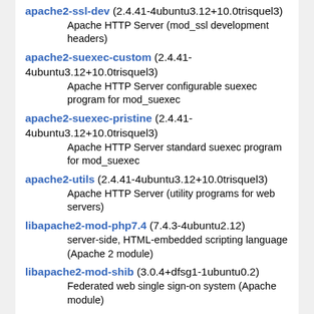apache2-ssl-dev (2.4.41-4ubuntu3.12+10.0trisquel3)
    Apache HTTP Server (mod_ssl development headers)
apache2-suexec-custom (2.4.41-4ubuntu3.12+10.0trisquel3)
    Apache HTTP Server configurable suexec program for mod_suexec
apache2-suexec-pristine (2.4.41-4ubuntu3.12+10.0trisquel3)
    Apache HTTP Server standard suexec program for mod_suexec
apache2-utils (2.4.41-4ubuntu3.12+10.0trisquel3)
    Apache HTTP Server (utility programs for web servers)
libapache2-mod-php7.4 (7.4.3-4ubuntu2.12)
    server-side, HTML-embedded scripting language (Apache 2 module)
libapache2-mod-shib (3.0.4+dfsg1-1ubuntu0.2)
    Federated web single sign-on system (Apache module)
libapache2-mod-svn (1.13.0-3ubuntu0.2)
    Apache Subversion server modules for Apache httpd